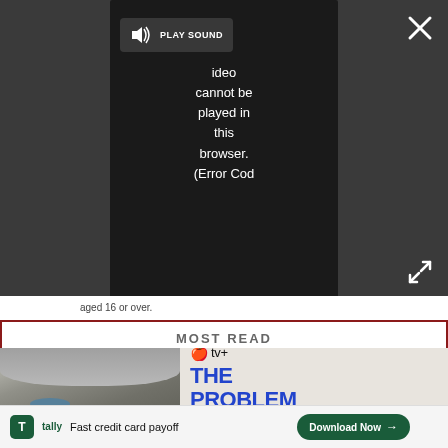[Figure (screenshot): Video player overlay showing a dark grey background with a video error message popup. The popup has a speaker/sound icon and 'PLAY SOUND' text, and a message reading 'Video cannot be played in this browser. (Error Cod'. A close X button is in the top right corner and a fullscreen expand icon in the bottom right.]
aged 16 or over.
MOST READ
[Figure (screenshot): Advertisement banner for Apple TV+ show 'The Problem With Jon' showing a close-up of a man's face (Jon Stewart) with grey hair and blue eyes on the left, and text on the right showing the Apple TV+ logo, and large blue/black text reading 'THE PROBLEM WITH JON'.]
[Figure (screenshot): Advertisement banner for Tally app at the bottom. Green rounded square Tally logo, text 'Tally Fast credit card payoff', and a dark green 'Download Now' button with arrow on the right. Small X and ? icons in the corner.]